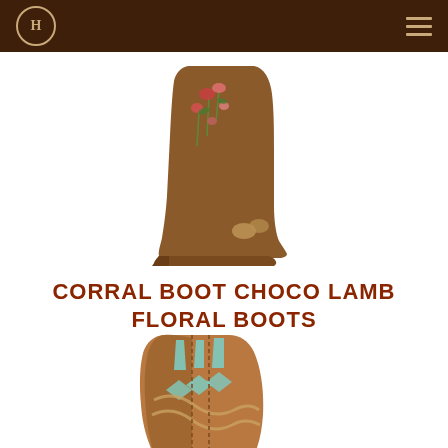H (logo) — hamburger menu
[Figure (photo): Brown cowboy boot with floral embroidery on white background, viewed from the side showing heel and toe]
CORRAL BOOT CHOCO LAMB FLORAL BOOTS
[Figure (photo): Close-up top view of tan/brown cowboy boot with turquoise and tan cutout overlay design]